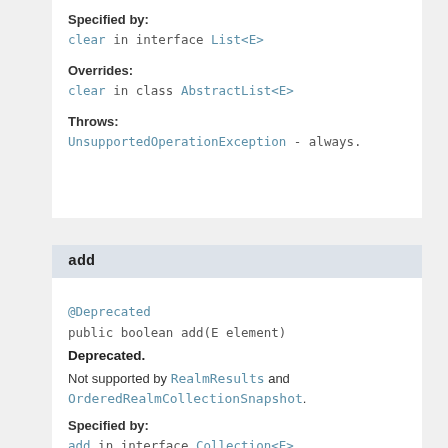Specified by:
clear in interface List<E>
Overrides:
clear in class AbstractList<E>
Throws:
UnsupportedOperationException - always.
add
@Deprecated
public boolean add(E element)
Deprecated.
Not supported by RealmResults and OrderedRealmCollectionSnapshot.
Specified by:
add in interface Collection<E>
Specified by:
add in interface List<E>